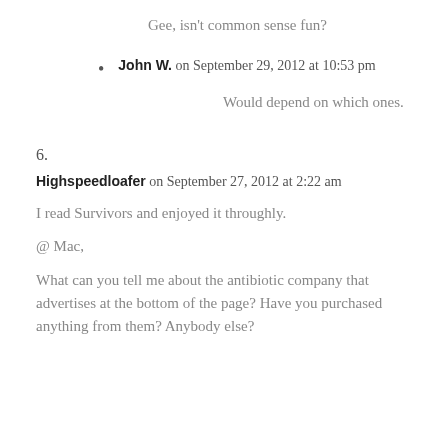Gee, isn't common sense fun?
John W. on September 29, 2012 at 10:53 pm
Would depend on which ones.
6.
Highspeedloafer on September 27, 2012 at 2:22 am
I read Survivors and enjoyed it throughly.
@ Mac,
What can you tell me about the antibiotic company that advertises at the bottom of the page? Have you purchased anything from them? Anybody else?